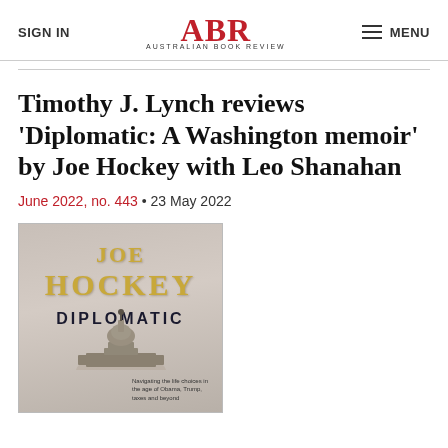SIGN IN | ABR AUSTRALIAN BOOK REVIEW | MENU
Timothy J. Lynch reviews 'Diplomatic: A Washington memoir' by Joe Hockey with Leo Shanahan
June 2022, no. 443 • 23 May 2022
[Figure (photo): Book cover of 'Diplomatic' by Joe Hockey, showing the US Capitol dome against a cloudy sky with gold title text]